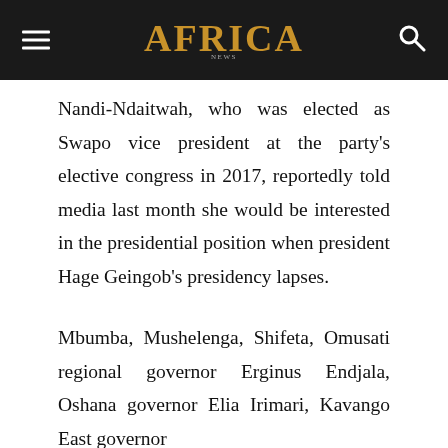AFRICA
Nandi-Ndaitwah, who was elected as Swapo vice president at the party’s elective congress in 2017, reportedly told media last month she would be interested in the presidential position when president Hage Geingob’s presidency lapses.
Mbumba, Mushelenga, Shifeta, Omusati regional governor Erginus Endjala, Oshana governor Elia Irimari, Kavango East governor